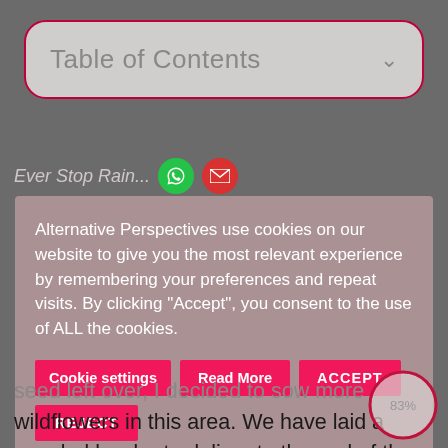[Figure (screenshot): Table of Contents dropdown UI element with pink/red border, gray rounded rectangle, and chevron icon]
Ever Stop Rain...
Alternative Perspectives use cookies on our website to give you the most relevant experience by remembering your preferences and repeat visits. By clicking “Accept”, you consent to the use of ALL the cookies.
Cookie settings | Read More | ACCEPT | REJECT
seed left over, I decided to sow more wildflowers in this area. We have laid a wooded border to delineate the end of the grass and the start of the wildflowers. This is purely to allow us to know where we can stop